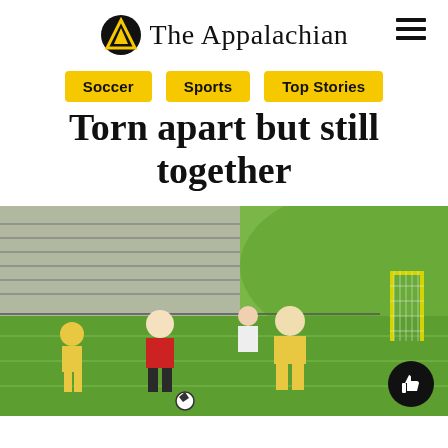The Appalachian
Soccer
Sports
Top Stories
Torn apart but still together
[Figure (photo): Women's soccer players in yellow and red jerseys practicing on a green turf field, with a soccer goal, bleachers, and grassy hill in the background.]